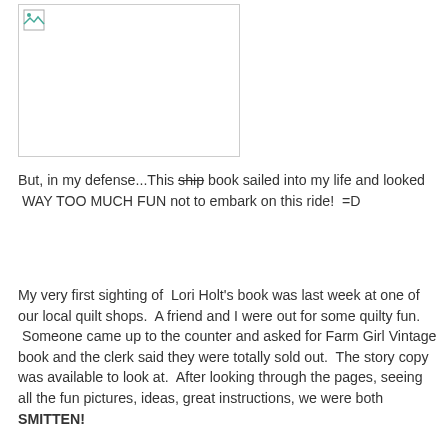[Figure (photo): Broken/missing image placeholder with a small broken image icon in the top-left corner]
But, in my defense...This ship book sailed into my life and looked  WAY TOO MUCH FUN not to embark on this ride!  =D
My very first sighting of  Lori Holt's book was last week at one of our local quilt shops.  A friend and I were out for some quilty fun.  Someone came up to the counter and asked for Farm Girl Vintage book and the clerk said they were totally sold out.  The story copy was available to look at.  After looking through the pages, seeing all the fun pictures, ideas, great instructions, we were both SMITTEN!
Of course the next day SMITTEN led to browsing the internet...